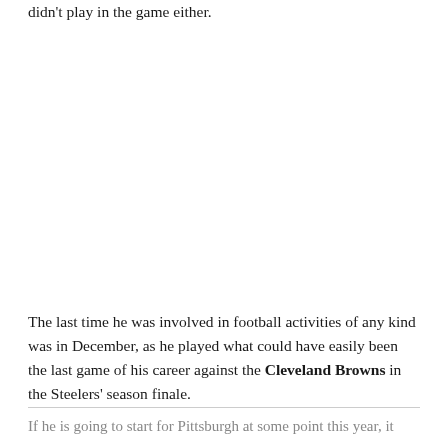didn't play in the game either.
The last time he was involved in football activities of any kind was in December, as he played what could have easily been the last game of his career against the Cleveland Browns in the Steelers' season finale.
If he is going to start for Pittsburgh at some point this year, it